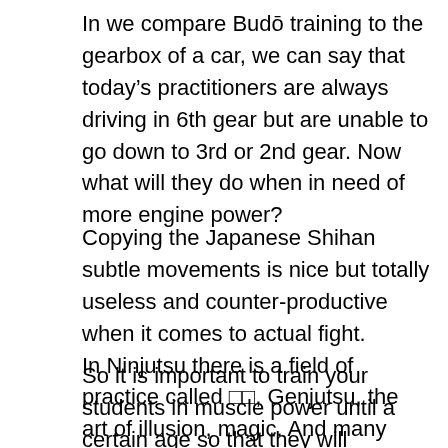In we compare Budō training to the gearbox of a car, we can say that today's practitioners are always driving in 6th gear but are unable to go down to 3rd or 2nd gear. Now what will they do when in need of more engine power?
Copying the Japanese Shihan subtle movements is nice but totally useless and counter-productive when it comes to actual fight.
In Ninjutsu there is a field of practice called □□, Genjutsu, the art of illusion, magic. And many teachers are caught by this self illusion.
So it is important to train your students in muscle power until a certain age so that they will understand how to get rid of it when the time comes. The